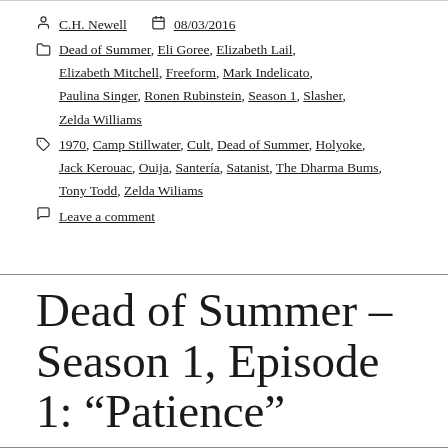C.H. Newell   08/03/2016
Dead of Summer, Eli Goree, Elizabeth Lail, Elizabeth Mitchell, Freeform, Mark Indelicato, Paulina Singer, Ronen Rubinstein, Season 1, Slasher, Zelda Williams
1970, Camp Stillwater, Cult, Dead of Summer, Holyoke, Jack Kerouac, Ouija, Santería, Satanist, The Dharma Bums, Tony Todd, Zelda Wiliams
Leave a comment
Dead of Summer – Season 1, Episode 1: “Patience”